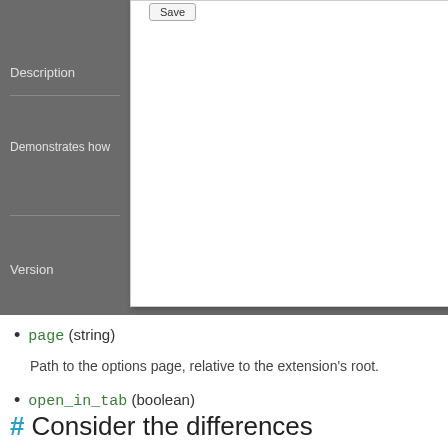[Figure (screenshot): A UI screenshot showing a dark gray panel with labels 'Description', 'Demonstrates how', 'Version' on the left, and a white dialog box with a Save button on the right.]
page (string)
Path to the options page, relative to the extension's root.
open_in_tab (boolean)
Specify as false to declare an embedded options page. If true, the extension's options page will be opened in a new tab rather than embedded in chrome://extensions.
# Consider the differences